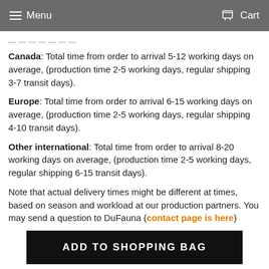Menu  Cart
Canada: Total time from order to arrival 5-12 working days on average, (production time 2-5 working days, regular shipping 3-7 transit days).
Europe: Total time from order to arrival 6-15 working days on average, (production time 2-5 working days, regular shipping 4-10 transit days).
Other international: Total time from order to arrival 8-20 working days on average, (production time 2-5 working days, regular shipping 6-15 transit days).
Note that actual delivery times might be different at times, based on season and workload at our production partners. You may send a question to DuFauna (contact page is here)
ADD TO SHOPPING BAG